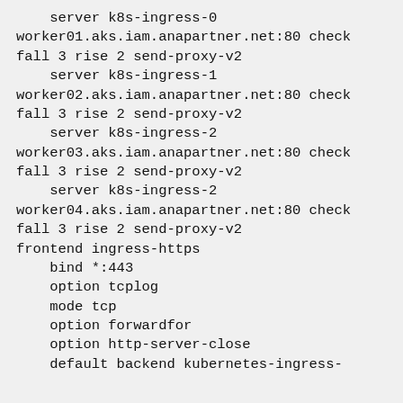server k8s-ingress-0 worker01.aks.iam.anapartner.net:80 check fall 3 rise 2 send-proxy-v2
    server k8s-ingress-1 worker02.aks.iam.anapartner.net:80 check fall 3 rise 2 send-proxy-v2
    server k8s-ingress-2 worker03.aks.iam.anapartner.net:80 check fall 3 rise 2 send-proxy-v2
    server k8s-ingress-2 worker04.aks.iam.anapartner.net:80 check fall 3 rise 2 send-proxy-v2
frontend ingress-https
    bind *:443
    option tcplog
    mode tcp
    option forwardfor
    option http-server-close
    default backend kubernetes-ingress-